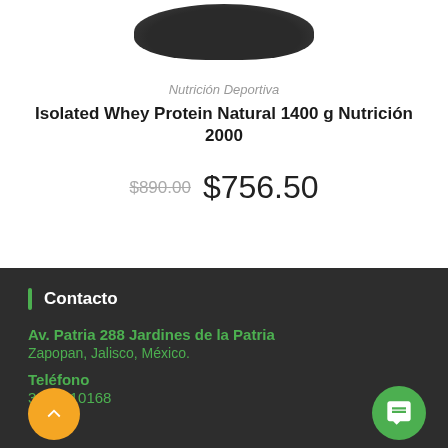[Figure (photo): Dark oval/rounded product container cap viewed from above, partially visible at top of page]
Nutrición Deportiva
Isolated Whey Protein Natural 1400 g Nutrición 2000
$890.00 $756.50
Contacto
Av. Patria 288 Jardines de la Patria
Zapopan, Jalisco, México.
Teléfono
3314110168